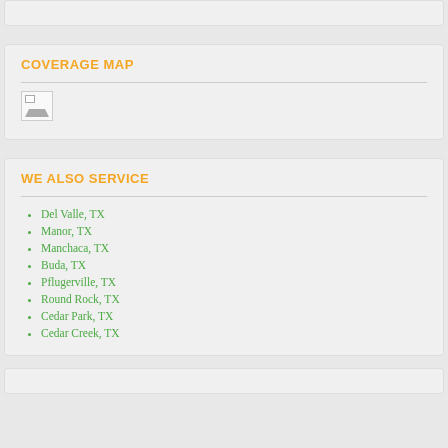COVERAGE MAP
[Figure (map): Broken/missing map image placeholder]
WE ALSO SERVICE
Del Valle, TX
Manor, TX
Manchaca, TX
Buda, TX
Pflugerville, TX
Round Rock, TX
Cedar Park, TX
Cedar Creek, TX